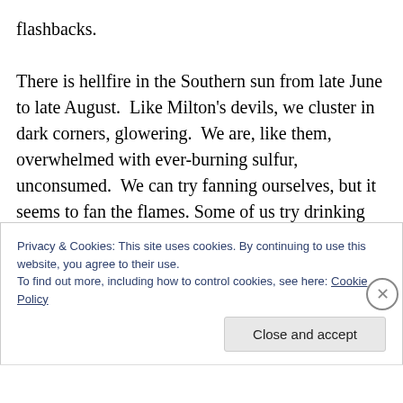flashbacks.

There is hellfire in the Southern sun from late June to late August.  Like Milton's devils, we cluster in dark corners, glowering.  We are, like them, overwhelmed with ever-burning sulfur, unconsumed.  We can try fanning ourselves, but it seems to fan the flames. Some of us try drinking alcohol, but that pours kerosene on the barbecue that roasts us. The library air conditioner is barely functional.  The third floor is hotter than it is outside.  The second floor seems to be slightly cooled.  The first floor is
Privacy & Cookies: This site uses cookies. By continuing to use this website, you agree to their use.
To find out more, including how to control cookies, see here: Cookie Policy